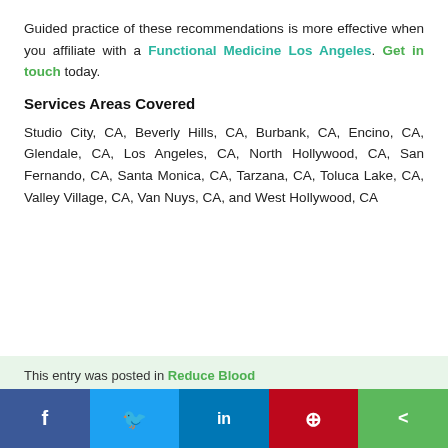Guided practice of these recommendations is more effective when you affiliate with a Functional Medicine Los Angeles. Get in touch today.
Services Areas Covered
Studio City, CA, Beverly Hills, CA, Burbank, CA, Encino, CA, Glendale, CA, Los Angeles, CA, North Hollywood, CA, San Fernando, CA, Santa Monica, CA, Tarzana, CA, Toluca Lake, CA, Valley Village, CA, Van Nuys, CA, and West Hollywood, CA
This entry was posted in Reduce Blood